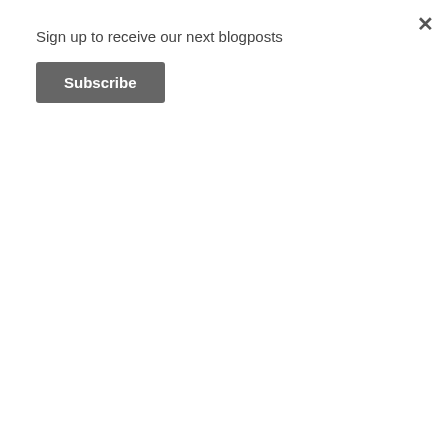Sign up to receive our next blogposts
Subscribe
[Figure (photo): Underwater/rock coral photo banner with watermark text]
Oh … what a cruise!!!
For our last exploration trip in the Burma Banks, we have been very very blessed meeting so many fantastic creatures!
Our lucky group on board: Christophe, Chloé, Stéphane, Laure, Sandra and Gregory from Switzerland; Fabian and Michaela from Germany; Sylvie, Ghislaine and Patrick from France; Ivy from Australia; Andre from England; Areena from Thailand and Gils from Netherlands.
Read More